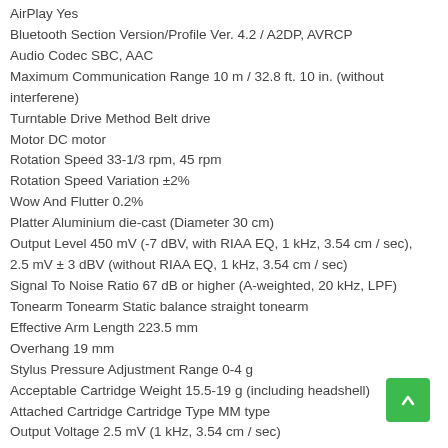AirPlay Yes
Bluetooth Section Version/Profile Ver. 4.2 / A2DP, AVRCP
Audio Codec SBC, AAC
Maximum Communication Range 10 m / 32.8 ft. 10 in. (without interferene)
Turntable Drive Method Belt drive
Motor DC motor
Rotation Speed 33-1/3 rpm, 45 rpm
Rotation Speed Variation ±2%
Wow And Flutter 0.2%
Platter Aluminium die-cast (Diameter 30 cm)
Output Level 450 mV (-7 dBV, with RIAA EQ, 1 kHz, 3.54 cm / sec), 2.5 mV ± 3 dBV (without RIAA EQ, 1 kHz, 3.54 cm / sec)
Signal To Noise Ratio 67 dB or higher (A-weighted, 20 kHz, LPF)
Tonearm Tonearm Static balance straight tonearm
Effective Arm Length 223.5 mm
Overhang 19 mm
Stylus Pressure Adjustment Range 0-4 g
Acceptable Cartridge Weight 15.5-19 g (including headshell)
Attached Cartridge Cartridge Type MM type
Output Voltage 2.5 mV (1 kHz, 3.54 cm / sec)
Stylus Pressure 3.5 ± 0.5 g
Cartridge Weight 7.0 – 3.0 …